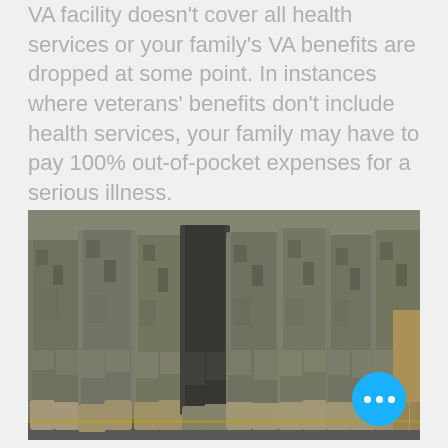VA facility doesn't cover all health services or your family's VA benefits are dropped at some point. In instances where veterans' benefits don't include health services, your family may have to pay 100% out-of-pocket expenses for a serious illness.
[Figure (photo): Photograph showing the lower bodies and legs of military soldiers in camouflage uniforms and combat boots, marching in formation on a road.]